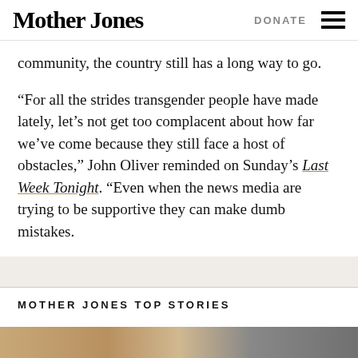Mother Jones | DONATE
community, the country still has a long way to go.
“For all the strides transgender people have made lately, let’s not get too complacent about how far we’ve come because they still face a host of obstacles,” John Oliver reminded on Sunday’s Last Week Tonight. “Even when the news media are trying to be supportive they can make dumb mistakes.
MOTHER JONES TOP STORIES
[Figure (photo): Photo image at bottom of page showing people in a room, partial view]